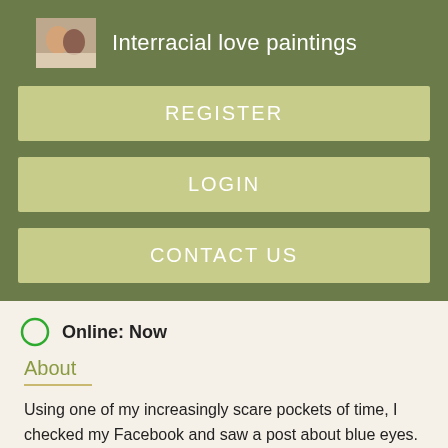Interracial love paintings
REGISTER
LOGIN
CONTACT US
Online: Now
About
Using one of my increasingly scare pockets of time, I checked my Facebook and saw a post about blue eyes. Along with this post came a variety of facts Nudist wife